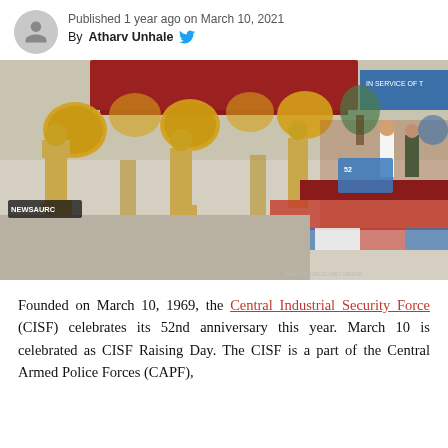Published 1 year ago on March 10, 2021
By Atharv Unhale
[Figure (photo): CISF parade ceremony with soldiers in ceremonial uniform marching in front of dignitaries on a stage, with decorative golden headgear. Image watermarked NEWSAURC and WALLSOURCE-NBC MEDIA.]
Founded on March 10, 1969, the Central Industrial Security Force (CISF) celebrates its 52nd anniversary this year. March 10 is celebrated as CISF Raising Day. The CISF is a part of the Central Armed Police Forces (CAPF), one of the most important security forces across the